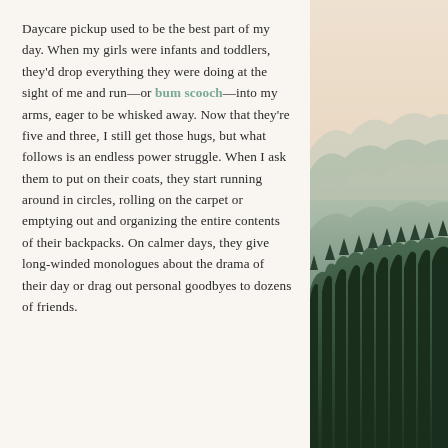Daycare pickup used to be the best part of my day. When my girls were infants and toddlers, they'd drop everything they were doing at the sight of me and run—or bum scooch—into my arms, eager to be whisked away. Now that they're five and three, I still get those hugs, but what follows is an endless power struggle. When I ask them to put on their coats, they start running around in circles, rolling on the carpet or emptying out and organizing the entire contents of their backpacks. On calmer days, they give long-winded monologues about the drama of their day or drag out personal goodbyes to dozens of friends.
[Figure (photo): A misty mountain landscape photograph showing layered mountain ridges covered in dark green coniferous forest, with soft atmospheric haze in green and grey tones. The image occupies the right side of the page.]